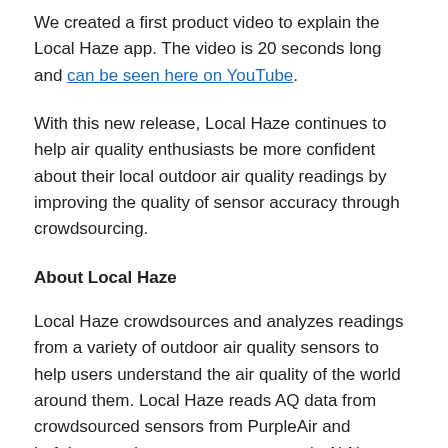We created a first product video to explain the Local Haze app. The video is 20 seconds long and can be seen here on YouTube.
With this new release, Local Haze continues to help air quality enthusiasts be more confident about their local outdoor air quality readings by improving the quality of sensor accuracy through crowdsourcing.
About Local Haze
Local Haze crowdsources and analyzes readings from a variety of outdoor air quality sensors to help users understand the air quality of the world around them. Local Haze reads AQ data from crowdsourced sensors from PurpleAir and Luftdaten and government sensors via AirNow and the U.S. Department of State.